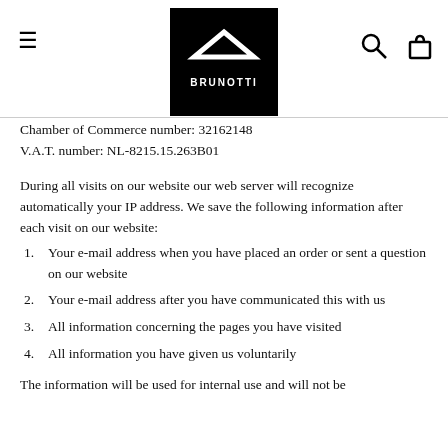Brunotti logo, hamburger menu, search and cart icons
Chamber of Commerce number: 32162148
V.A.T. number: NL-8215.15.263B01
During all visits on our website our web server will recognize automatically your IP address. We save the following information after each visit on our website:
Your e-mail address when you have placed an order or sent a question on our website
Your e-mail address after you have communicated this with us
All information concerning the pages you have visited
All information you have given us voluntarily
The information will be used for internal use and will not be